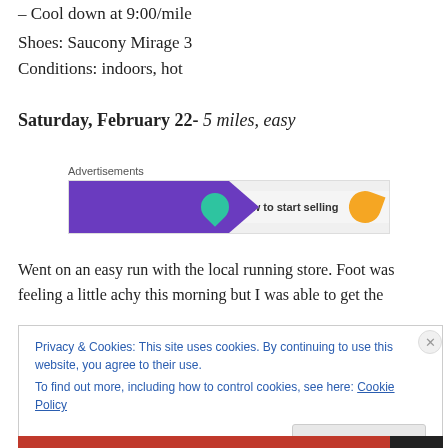– Cool down at 9:00/mile
Shoes: Saucony Mirage 3
Conditions: indoors, hot
Saturday, February 22- 5 miles, easy
[Figure (other): Advertisement banner with purple background, teal arrow shape, and orange leaf shape with text 'How to start selling']
Went on an easy run with the local running store. Foot was feeling a little achy this morning but I was able to get the
Privacy & Cookies: This site uses cookies. By continuing to use this website, you agree to their use.
To find out more, including how to control cookies, see here: Cookie Policy
Close and accept